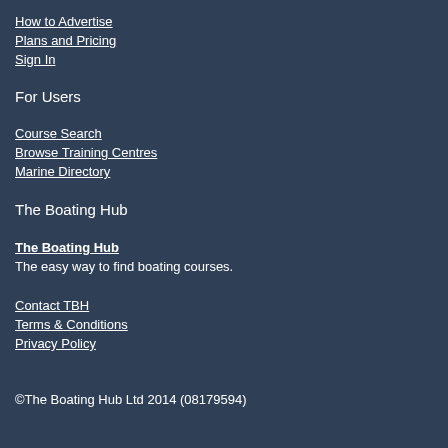How to Advertise
Plans and Pricing
Sign In
For Users
Course Search
Browse Training Centres
Marine Directory
The Boating Hub
The Boating Hub
The easy way to find boating courses.
Contact TBH
Terms & Conditions
Privacy Policy
©The Boating Hub Ltd 2014 (08179594)